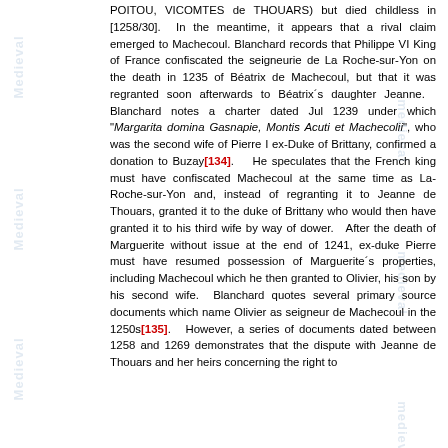POITOU, VICOMTES de THOUARS) but died childless in [1258/30]. In the meantime, it appears that a rival claim emerged to Machecoul. Blanchard records that Philippe VI King of France confiscated the seigneurie de La Roche-sur-Yon on the death in 1235 of Béatrix de Machecoul, but that it was regranted soon afterwards to Béatrix´s daughter Jeanne. Blanchard notes a charter dated Jul 1239 under which "Margarita domina Gasnapie, Montis Acuti et Machecolii", who was the second wife of Pierre I ex-Duke of Brittany, confirmed a donation to Buzay[134]. He speculates that the French king must have confiscated Machecoul at the same time as La-Roche-sur-Yon and, instead of regranting it to Jeanne de Thouars, granted it to the duke of Brittany who would then have granted it to his third wife by way of dower. After the death of Marguerite without issue at the end of 1241, ex-duke Pierre must have resumed possession of Marguerite´s properties, including Machecoul which he then granted to Olivier, his son by his second wife. Blanchard quotes several primary source documents which name Olivier as seigneur de Machecoul in the 1250s[135]. However, a series of documents dated between 1258 and 1269 demonstrates that the dispute with Jeanne de Thouars and her heirs concerning the right to